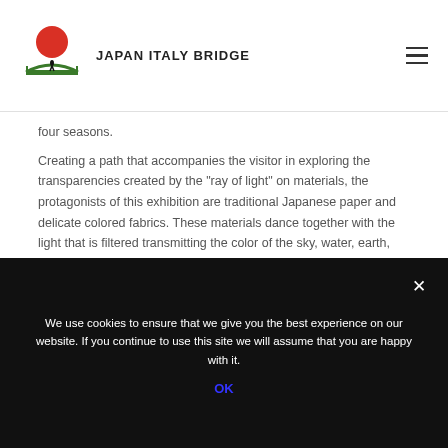JAPAN ITALY BRIDGE
four seasons.
Creating a path that accompanies the visitor in exploring the transparencies created by the “ray of light” on materials, the protagonists of this exhibition are traditional Japanese paper and delicate colored fabrics. These materials dance together with the light that is filtered transmitting the color of the sky, water, earth, but also the color of the forest and nature where light is the main character.
The exhibition takes place at AR GALLERY f...
We use cookies to ensure that we give you the best experience on our website. If you continue to use this site we will assume that you are happy with it.
OK